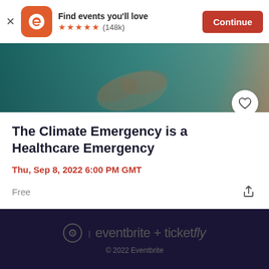[Figure (screenshot): Eventbrite app install banner with orange E logo icon, 'Find events you'll love' text, 5 orange stars, (148k) reviews, and orange Continue button]
[Figure (photo): Close-up photo of two people holding hands, teal/green clothing visible in background]
The Climate Emergency is a Healthcare Emergency
Thu, Sep 8, 2022 6:00 PM GMT
Free
eventbrite + ticketfly
© 2022 Eventbrite